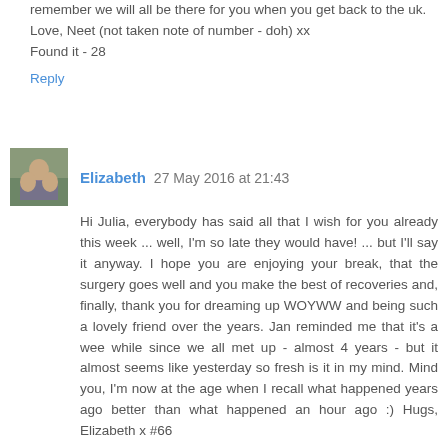remember we will all be there for you when you get back to the uk.
Love, Neet (not taken note of number - doh) xx
Found it - 28
Reply
Elizabeth  27 May 2016 at 21:43
Hi Julia, everybody has said all that I wish for you already this week ... well, I'm so late they would have! ... but I'll say it anyway. I hope you are enjoying your break, that the surgery goes well and you make the best of recoveries and, finally, thank you for dreaming up WOYWW and being such a lovely friend over the years. Jan reminded me that it's a wee while since we all met up - almost 4 years - but it almost seems like yesterday so fresh is it in my mind. Mind you, I'm now at the age when I recall what happened years ago better than what happened an hour ago :) Hugs, Elizabeth x #66
Reply